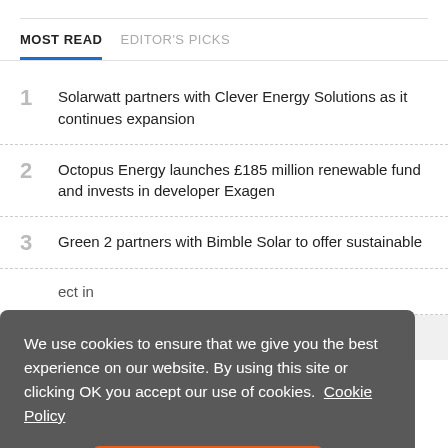MOST READ   EDITOR'S PICKS
Solarwatt partners with Clever Energy Solutions as it continues expansion
Octopus Energy launches £185 million renewable fund and invests in developer Exagen
Green 2 partners with Bimble Solar to offer sustainable
We use cookies to ensure that we give you the best experience on our website. By using this site or clicking OK you accept our use of cookies. Cookie Policy
OK